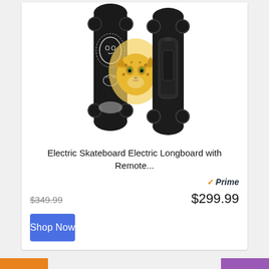[Figure (photo): Two electric skateboards shown side by side — one showing the top deck with a lion/cheetah graphic design in black and white with yellow, and one showing the bottom/underside with black battery housing. Both have large black wheels. A yellow cheetah face graphic appears between them.]
Electric Skateboard Electric Longboard with Remote...
Prime (Amazon Prime badge with checkmark)
$349.99 (strikethrough)  $299.99
Shop Now